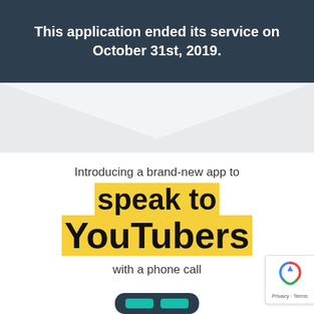This application ended its service on October 31st, 2019.
[Figure (illustration): Light gray chevron/downward-pointing triangle shape on gray background, acting as a decorative section divider]
Introducing a brand-new app to
speak to YouTubers
with a phone call
[Figure (illustration): reCAPTCHA badge with Google reCAPTCHA logo, showing Privacy · Terms links]
[Figure (illustration): Top portion of a smartphone with teal/green color visible at the bottom of the page]